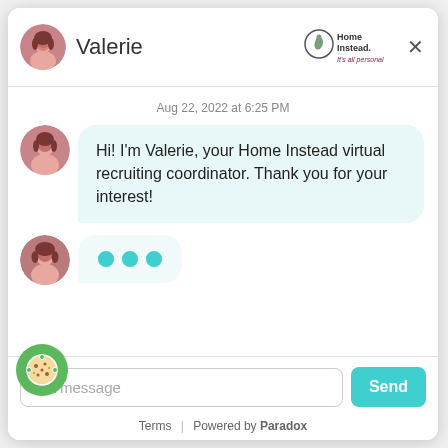Valerie — Home Instead | It's all personal
Aug 22, 2022 at 6:25 PM
Hi! I'm Valerie, your Home Instead virtual recruiting coordinator. Thank you for your interest!
[Figure (illustration): Typing indicator with three teal dots]
e a message
Terms | Powered by Paradox